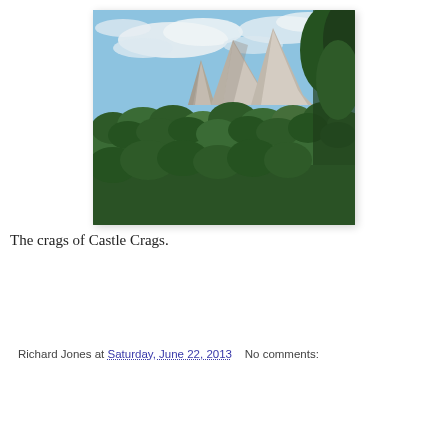[Figure (photo): Photograph of Castle Crags: rocky granite crags and spires rising above green forested hillside under a blue sky with white clouds]
The crags of Castle Crags.
Richard Jones at Saturday, June 22, 2013   No comments: